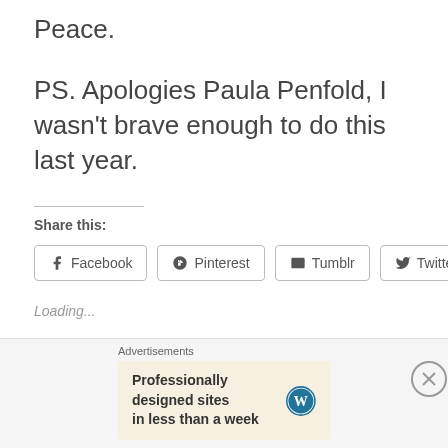Peace.
PS. Apologies Paula Penfold, I wasn't brave enough to do this last year.
Share this:
Facebook  Pinterest  Tumblr  Twitter
Loading...
Related
Advertisements
Professionally designed sites in less than a week